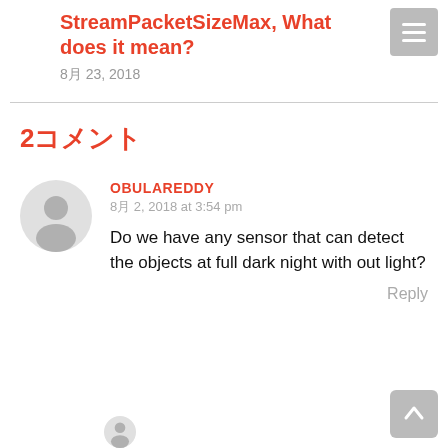StreamPacketSizeMax, What does it mean?
8月 23, 2018
2 コメント
OBULAREDDY
8月 2, 2018 at 3:54 pm
Do we have any sensor that can detect the objects at full dark night with out light?
Reply